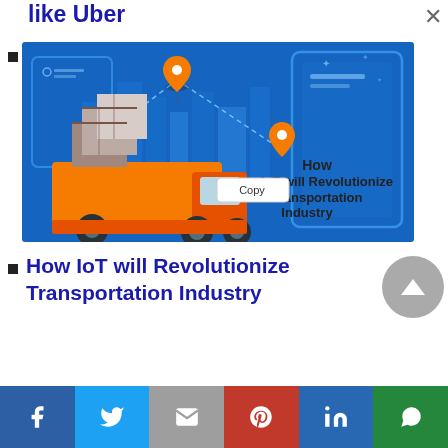like Uber
[Figure (illustration): IoT transportation industry illustration showing an orange delivery truck with boxes, location pins connected by dotted lines, and mobile device graphics on a blue background. Text reads 'How IoT will Revolutionize Transportation Industry']
How IoT will Revolutionize Transportation Industry
Facebook | Twitter | Gmail | Pinterest | LinkedIn | WhatsApp